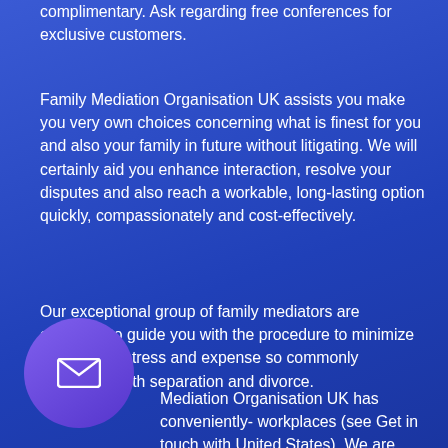complimentary. Ask regarding free conferences for exclusive customers.
Family Mediation Organisation UK assists you make you very own choices concerning what is finest for you and also your family in future without litigating. We will certainly aid you enhance interaction, resolve your disputes and also reach a workable, long-lasting option quickly, compassionately and cost-effectively.
Our exceptional group of family mediators are educated to guide you with the procedure to minimize the delay, distress and expense so commonly connected with separation and divorce.
Mediation Organisation UK has conveniently- workplaces (see Get in touch with United States). We are qualified to take on Mediation Information and also Evaluation Conference